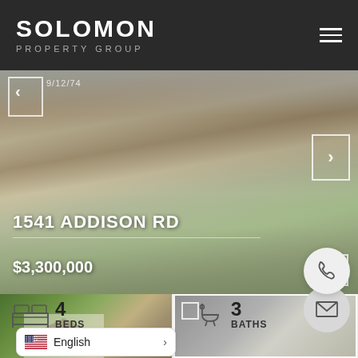SOLOMON PROPERTY GROUP
[Figure (photo): Exterior photo of residential property at 1541 Addison Rd with white/cream stucco facade, brown roof tiles, multiple dormers, green landscaping]
1541 ADDISON RD
$3,300,000
[Figure (photo): Thumbnail photo 1 of property exterior with green trees]
[Figure (photo): Thumbnail photo 2 of property exterior]
4 BEDS
3 BATHS
English